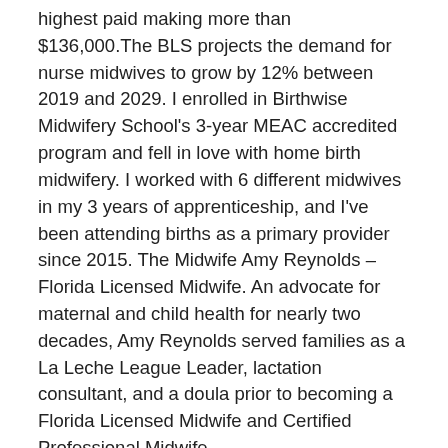highest paid making more than $136,000.The BLS projects the demand for nurse midwives to grow by 12% between 2019 and 2029. I enrolled in Birthwise Midwifery School's 3-year MEAC accredited program and fell in love with home birth midwifery. I worked with 6 different midwives in my 3 years of apprenticeship, and I've been attending births as a primary provider since 2015. The Midwife Amy Reynolds – Florida Licensed Midwife. An advocate for maternal and child health for nearly two decades, Amy Reynolds served families as a La Leche League Leader, lactation consultant, and a doula prior to becoming a Florida Licensed Midwife and Certified Professional Midwife.
A bit more about why I chose to be a Homebirth Midwife. The midwife is called by the woman or her